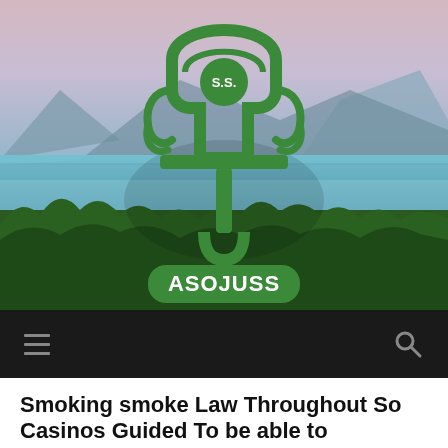[Figure (logo): ASOJUSS logo with stylized mushroom/anchor figure in green and white text 'S.S.' in center circle, overlaid on a scenic aerial photo of a lake surrounded by forested hills at dusk. Green rounded rectangle banner at bottom of logo reads 'ASOJUSS' in white bold letters.]
Navigation bar with hamburger menu icon on left and search icon on right, dark background
Smoking smoke Law Throughout So Casinos Guided To be able to